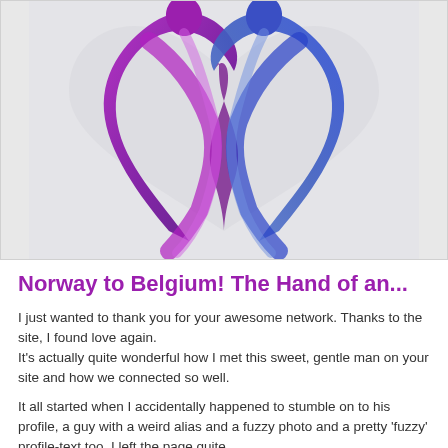[Figure (logo): A stylized heart-shaped logo with two abstract human figures embracing. The left figure is rendered in purple/magenta tones and the right in blue/indigo tones, forming a heart shape together. Background is a light gray with a subtle heart outline.]
Norway to Belgium! The Hand of an...
I just wanted to thank you for your awesome network. Thanks to the site, I found love again.
It's actually quite wonderful how I met this sweet, gentle man on your site and how we connected so well.
It all started when I accidentally happened to stumble on to his profile, a guy with a weird alias and a fuzzy photo and a pretty 'fuzzy' profile-text too. I left the page quite